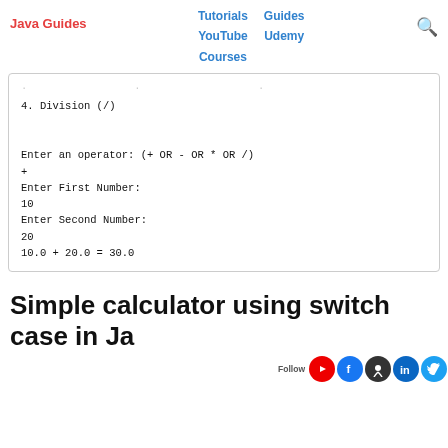Java Guides | Tutorials | Guides | YouTube | Udemy | Courses
4. Division (/)

Enter an operator: (+ OR - OR * OR /)
+
Enter First Number:
10
Enter Second Number:
20
10.0 + 20.0 = 30.0
Simple calculator using switch case in Java